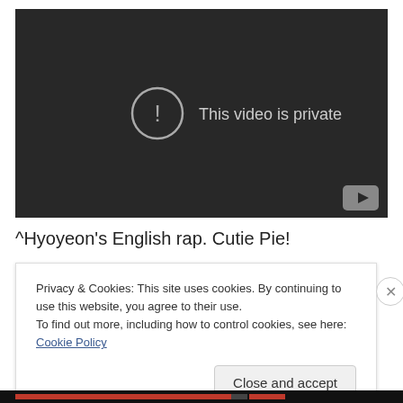[Figure (screenshot): Embedded video player with dark background showing 'This video is private' message with exclamation icon and YouTube logo in bottom right corner]
^Hyoyeon's English rap. Cutie Pie!
Privacy & Cookies: This site uses cookies. By continuing to use this website, you agree to their use.
To find out more, including how to control cookies, see here: Cookie Policy
Close and accept